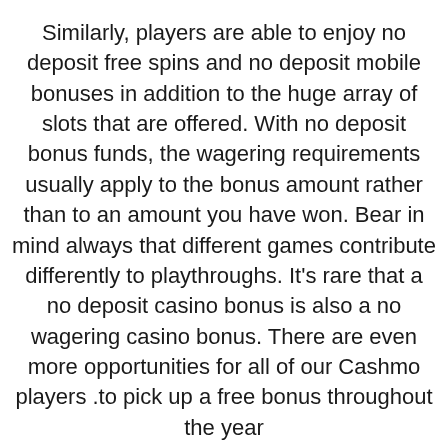Similarly, players are able to enjoy no deposit free spins and no deposit mobile bonuses in addition to the huge array of slots that are offered. With no deposit bonus funds, the wagering requirements usually apply to the bonus amount rather than to an amount you have won. Bear in mind always that different games contribute differently to playthroughs. It's rare that a no deposit casino bonus is also a no wagering casino bonus. There are even more opportunities for all of our Cashmo players .to pick up a free bonus throughout the year
The latest no deposit bonus casinos UK ۲۰۲۰ are usually presented on the main page of the